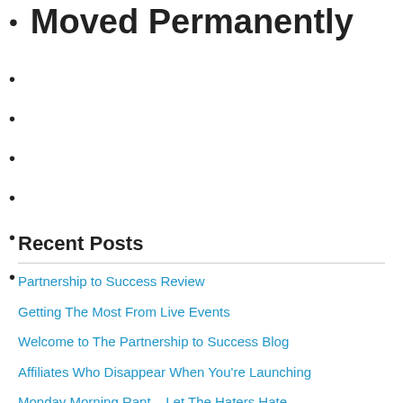Moved Permanently
Recent Posts
Partnership to Success Review
Getting The Most From Live Events
Welcome to The Partnership to Success Blog
Affiliates Who Disappear When You're Launching
Monday Morning Rant – Let The Haters Hate